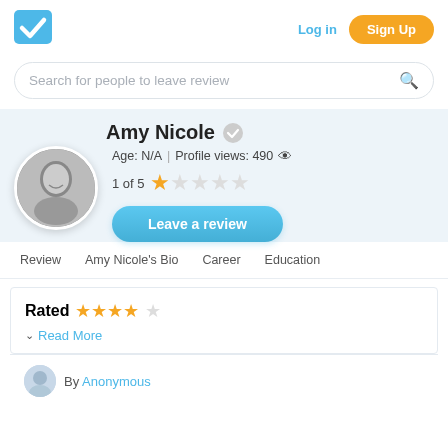[Figure (logo): Blue checkmark logo in a square]
Log in
Sign Up
Search for people to leave review
Amy Nicole
[Figure (photo): Black and white circular profile photo of Amy Nicole, a woman smiling]
Age: N/A | Profile views: 490
1 of 5 ★☆☆☆☆
Leave a review
Review
Amy Nicole's Bio
Career
Education
Rated ★★★★☆
Read More
By Anonymous